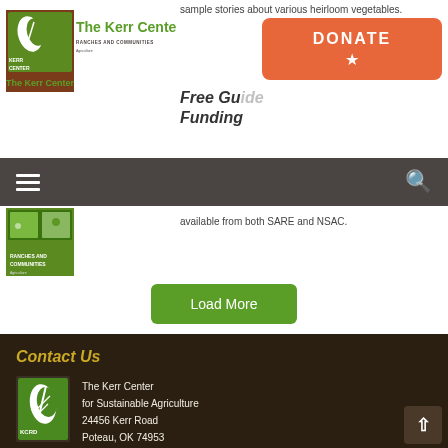sample stories about various heirloom vegetables.
[Figure (logo): The Kerr Center logo with leaf icon and text 'The Kerr Center', subtitle 'Ranches and Communities' with agriculture text]
Free Guide Funding
[Figure (illustration): Orange DONATE button with star icon]
[Figure (photo): Book cover showing SARE guide with farm imagery]
available from both SARE and NSAC.
Load More
Contact Us
[Figure (logo): Kerr Center green logo with leaf/wheat icon]
The Kerr Center
for Sustainable Agriculture
24456 Kerr Road
Poteau, OK 74953